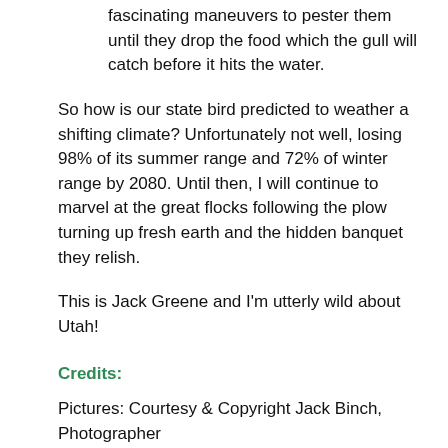fascinating maneuvers to pester them until they drop the food which the gull will catch before it hits the water.
So how is our state bird predicted to weather a shifting climate? Unfortunately not well, losing 98% of its summer range and 72% of winter range by 2080. Until then, I will continue to marvel at the great flocks following the plow turning up fresh earth and the hidden banquet they relish.
This is Jack Greene and I'm utterly wild about Utah!
Credits:
Pictures: Courtesy & Copyright Jack Binch, Photographer
Audio: Courtesy and Copyright Kevin Colver
Text: Jack Greene, Bridgerland Audubon Society